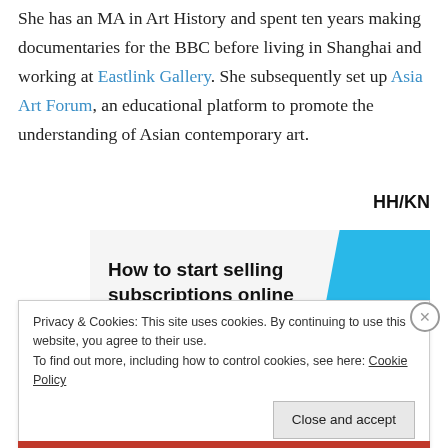She has an MA in Art History and spent ten years making documentaries for the BBC before living in Shanghai and working at Eastlink Gallery. She subsequently set up Asia Art Forum, an educational platform to promote the understanding of Asian contemporary art.
HH/KN
[Figure (other): Advertisement banner: 'How to start selling subscriptions online' with a cyan/light-blue angular shape on the right side.]
Privacy & Cookies: This site uses cookies. By continuing to use this website, you agree to their use.
To find out more, including how to control cookies, see here: Cookie Policy
Close and accept